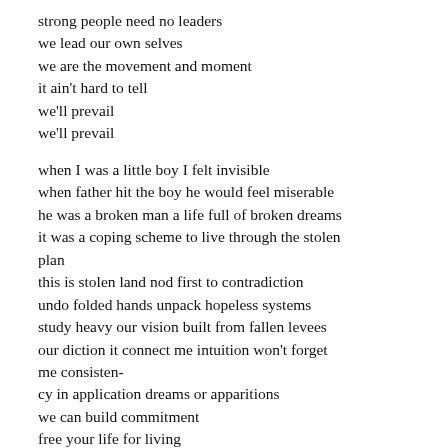strong people need no leaders
we lead our own selves
we are the movement and moment
it ain't hard to tell
we'll prevail
we'll prevail

when I was a little boy I felt invisible
when father hit the boy he would feel miserable
he was a broken man a life full of broken dreams
it was a coping scheme to live through the stolen plan
this is stolen land nod first to contradiction
undo folded hands unpack hopeless systems
study heavy our vision built from fallen levees
our diction it connect me intuition won't forget me consistency-
cy in application dreams or apparitions
we can build commitment
free your life for living
be a force of giving